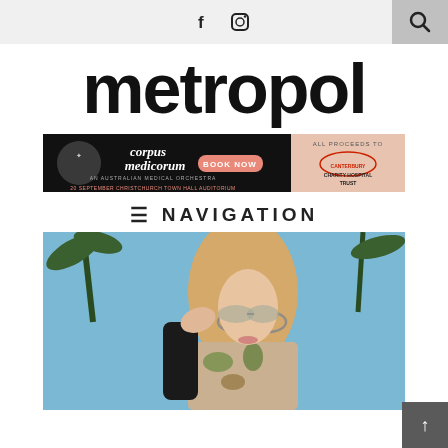Social icons (Facebook, Instagram) and search button navigation bar
metropol
[Figure (other): Advertisement banner for Corpus Medicorum - An Australian Medical Orchestra, 20 September Christchurch Town Hall Auditorium. Book Now button. All proceeds to Canterbury Charity Hospital Trust.]
≡ NAVIGATION
[Figure (photo): Blonde woman wearing aviator sunglasses and a tropical floral print jacket/blazer with black leather sleeve, posing outdoors with palm trees and blue sky in background, hand raised to head.]